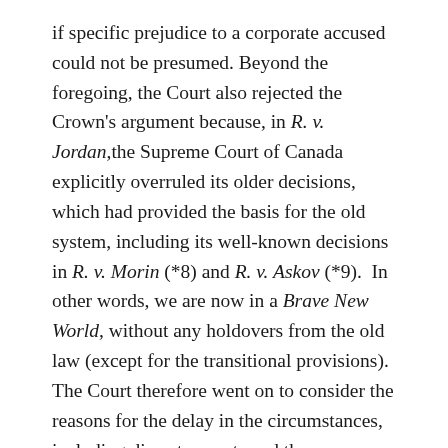if specific prejudice to a corporate accused could not be presumed. Beyond the foregoing, the Court also rejected the Crown's argument because, in R. v. Jordan, the Supreme Court of Canada explicitly overruled its older decisions, which had provided the basis for the old system, including its well-known decisions in R. v. Morin (*8) and R. v. Askov (*9).  In other words, we are now in a Brave New World, without any holdovers from the old law (except for the transitional provisions). The Court therefore went on to consider the reasons for the delay in the circumstances, including discrete events and the complexity of the case, as well as the transitional rules.  In the end, it ruled in favour of the Crown and permitted the prosecution to continue. Despite the fact that the accused lost their application on the facts, the principle that R. v. Jordan serves to protect corporations was endorsed